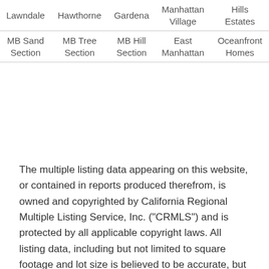| Lawndale | Hawthorne | Gardena | Manhattan
Village | Hills
Estates |
| MB Sand
Section | MB Tree
Section | MB Hill
Section | East
Manhattan | Oceanfront
Homes |
The multiple listing data appearing on this website, or contained in reports produced therefrom, is owned and copyrighted by California Regional Multiple Listing Service, Inc. ("CRMLS") and is protected by all applicable copyright laws. All listing data, including but not limited to square footage and lot size is believed to be accurate, but the listing Agent, listing Broker and CRMLS and its affiliates do not warrant or guarantee such accuracy. The viewer should independently verify the listed data prior to